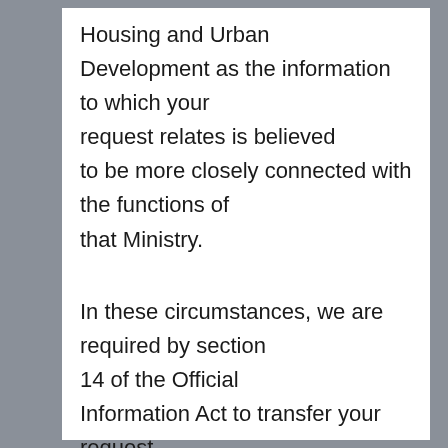Housing and Urban Development as the information to which your request relates is believed to be more closely connected with the functions of that Ministry.
In these circumstances, we are required by section 14 of the Official Information Act to transfer your request.